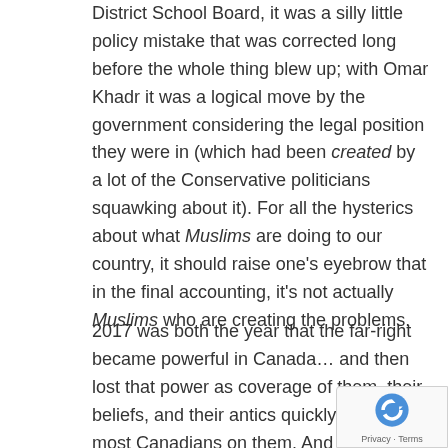District School Board, it was a silly little policy mistake that was corrected long before the whole thing blew up; with Omar Khadr it was a logical move by the government considering the legal position they were in (which had been created by a lot of the Conservative politicians squawking about it). For all the hysterics about what Muslims are doing to our country, it should raise one's eyebrow that in the final accounting, it's not actually Muslims who are creating the problems.
2017 was both the year that the far-right became powerful in Canada… and then lost that power as coverage of them, their beliefs, and their antics quickly soured most Canadians on them. And I think that's a good example of the pattern of 2017 in general. The year started badly, and seemed to be getting worse following the really shitty 2016. But along the way, the momentum shifted. You can see that trend everywhere:
The Oxford Word of 2017 set the tone before...